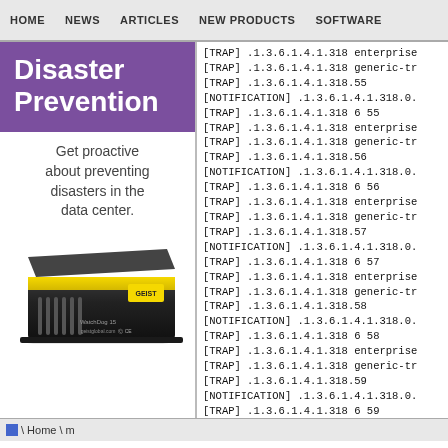HOME   NEWS   ARTICLES   NEW PRODUCTS   SOFTWARE
Disaster Prevention
Get proactive about preventing disasters in the data center.
[Figure (photo): Black and yellow hardware device labeled 'WatchDog 15' by GEIST, geistglobal.com, CE marked]
[TRAP] .1.3.6.1.4.1.318 enterprise
[TRAP] .1.3.6.1.4.1.318 generic-tr
[TRAP] .1.3.6.1.4.1.318.55
[NOTIFICATION] .1.3.6.1.4.1.318.0.
[TRAP] .1.3.6.1.4.1.318 6 55
[TRAP] .1.3.6.1.4.1.318 enterprise
[TRAP] .1.3.6.1.4.1.318 generic-tr
[TRAP] .1.3.6.1.4.1.318.56
[NOTIFICATION] .1.3.6.1.4.1.318.0.
[TRAP] .1.3.6.1.4.1.318 6 56
[TRAP] .1.3.6.1.4.1.318 enterprise
[TRAP] .1.3.6.1.4.1.318 generic-tr
[TRAP] .1.3.6.1.4.1.318.57
[NOTIFICATION] .1.3.6.1.4.1.318.0.
[TRAP] .1.3.6.1.4.1.318 6 57
[TRAP] .1.3.6.1.4.1.318 enterprise
[TRAP] .1.3.6.1.4.1.318 generic-tr
[TRAP] .1.3.6.1.4.1.318.58
[NOTIFICATION] .1.3.6.1.4.1.318.0.
[TRAP] .1.3.6.1.4.1.318 6 58
[TRAP] .1.3.6.1.4.1.318 enterprise
[TRAP] .1.3.6.1.4.1.318 generic-tr
[TRAP] .1.3.6.1.4.1.318.59
[NOTIFICATION] .1.3.6.1.4.1.318.0.
[TRAP] .1.3.6.1.4.1.318 6 59
\ Home \ m